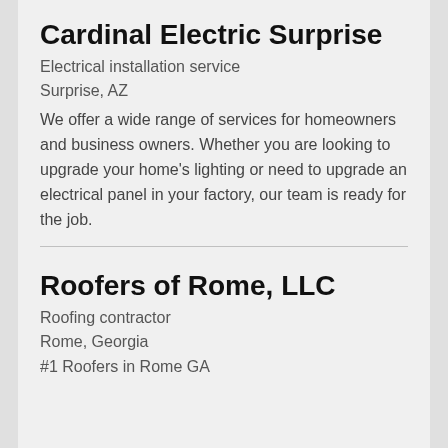Cardinal Electric Surprise
Electrical installation service
Surprise, AZ
We offer a wide range of services for homeowners and business owners. Whether you are looking to upgrade your home's lighting or need to upgrade an electrical panel in your factory, our team is ready for the job.
Roofers of Rome, LLC
Roofing contractor
Rome, Georgia
#1 Roofers in Rome GA